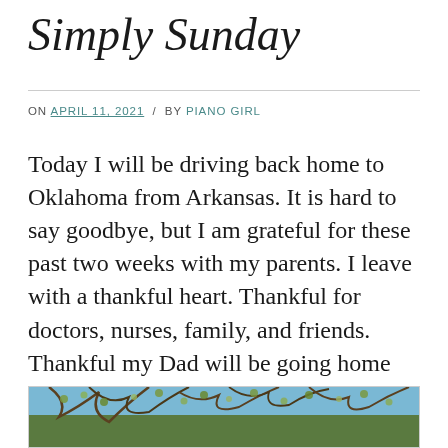Simply Sunday
ON APRIL 11, 2021 / BY PIANO GIRL
Today I will be driving back home to Oklahoma from Arkansas. It is hard to say goodbye, but I am grateful for these past two weeks with my parents. I leave with a thankful heart. Thankful for doctors, nurses, family, and friends. Thankful my Dad will be going home from the hospital today. ❤
[Figure (photo): Photo of trees with branches and foliage against a blue sky, partially visible at bottom of page]